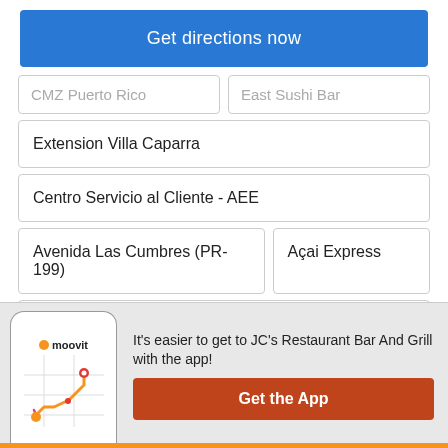Get directions now
CMZ Puerto Rico
East Sushi Bar
Extension Villa Caparra
Centro Servicio al Cliente - AEE
Avenida Las Cumbres (PR-199)
Açai Express
Red Mango Café San Patricio
It's easier to get to JC's Restaurant Bar And Grill with the app!
Get the App